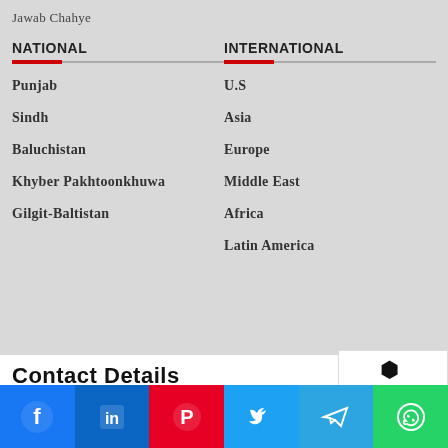Jawab Chahye
NATIONAL
Punjab
Sindh
Baluchistan
Khyber Pakhtoonkhuwa
Gilgit-Baltistan
INTERNATIONAL
U.S
Asia
Europe
Middle East
Africa
Latin America
Contact Details
[Figure (other): Social media share bar with Facebook, LinkedIn, Pinterest, Twitter, Telegram, WhatsApp icons]